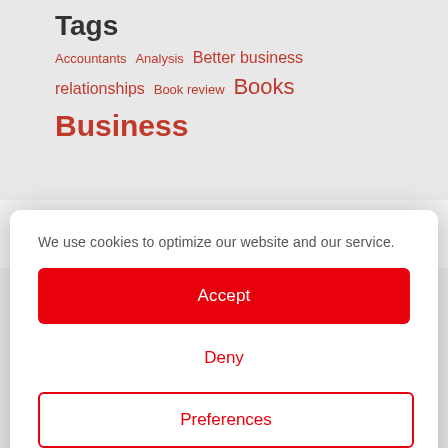[Figure (infographic): Tag cloud with red text tags: Accountants Analysis Better business relationships Book review Books Business]
We use cookies to optimize our website and our service.
Accept
Deny
Preferences
Legal Information  Privacy Statement
[Figure (infographic): Tag cloud with red text tags: Marketing LinkedIn Management Managing Partner Marketing Motivation Persuasion Pitches Planning Pricing Professional Services]